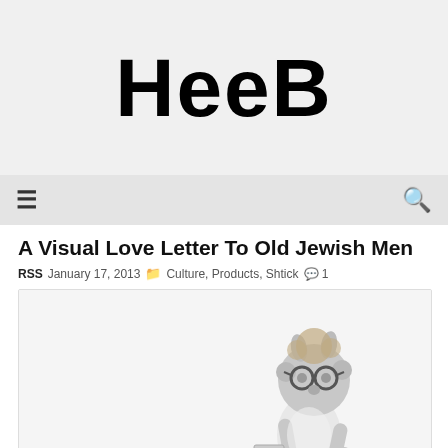HeeB
A Visual Love Letter To Old Jewish Men
RSS  January 17, 2013  Culture, Products, Shtick  💬1
[Figure (illustration): A stylized grey cartoon figure (monster/creature) wearing round glasses and a white body, with curly hair, reading something. Text overlay at bottom reads 'Fun for the whole family...']